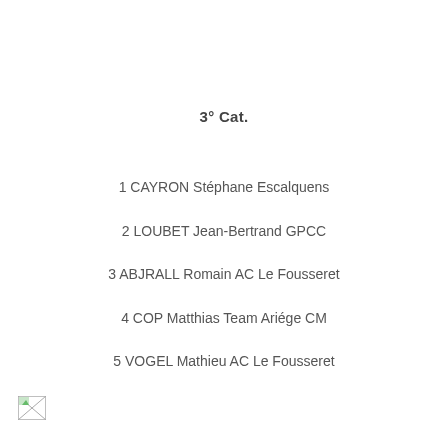3° Cat.
1 CAYRON Stéphane Escalquens
2 LOUBET Jean-Bertrand GPCC
3 ABJRALL Romain AC Le Fousseret
4 COP Matthias Team Ariége CM
5 VOGEL Mathieu AC Le Fousseret
[Figure (photo): Small broken/placeholder image icon in bottom-left corner]